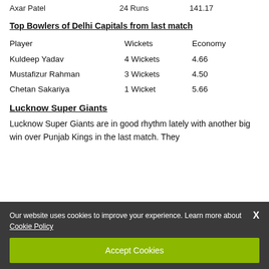Axar Patel   24 Runs   141.17
Top Bowlers of Delhi Capitals from last match
| Player | Wickets | Economy |
| --- | --- | --- |
| Kuldeep Yadav | 4 Wickets | 4.66 |
| Mustafizur Rahman | 3 Wickets | 4.50 |
| Chetan Sakariya | 1 Wicket | 5.66 |
Lucknow Super Giants
Lucknow Super Giants are in good rhythm lately with another big win over Punjab Kings in the last match. They scored 176 runs while battling first with Quinton de Kock...
Our website uses cookies to improve your experience. Learn more about Cookie Policy
Accept Cookies